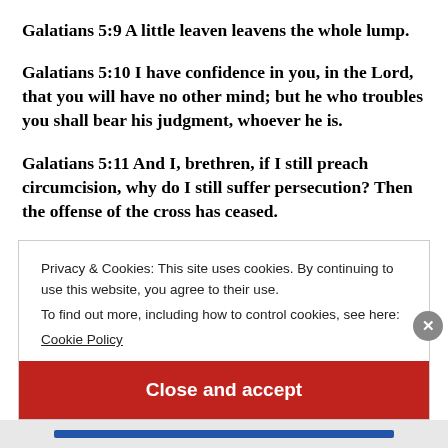Galatians 5:9 A little leaven leavens the whole lump.
Galatians 5:10 I have confidence in you, in the Lord, that you will have no other mind; but he who troubles you shall bear his judgment, whoever he is.
Galatians 5:11 And I, brethren, if I still preach circumcision, why do I still suffer persecution? Then the offense of the cross has ceased.
Privacy & Cookies: This site uses cookies. By continuing to use this website, you agree to their use.
To find out more, including how to control cookies, see here:
Cookie Policy
Close and accept